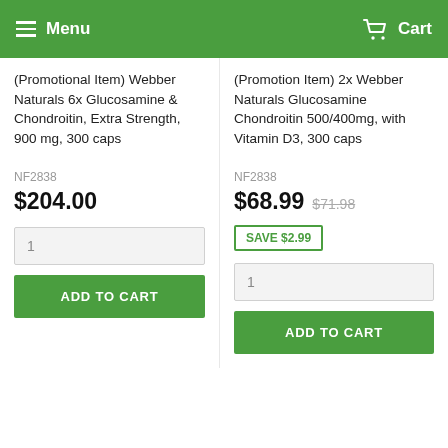Menu  Cart
(Promotional Item) Webber Naturals 6x Glucosamine & Chondroitin, Extra Strength, 900 mg, 300 caps
NF2838
$204.00
(Promotion Item) 2x Webber Naturals Glucosamine Chondroitin 500/400mg, with Vitamin D3, 300 caps
NF2838
$68.99  $71.98
SAVE $2.99